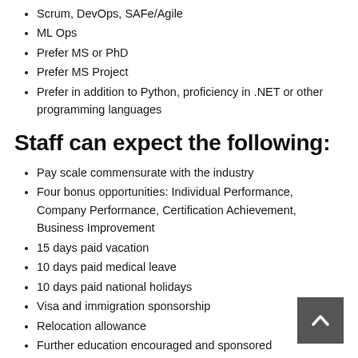Scrum, DevOps, SAFe/Agile
ML Ops
Prefer MS or PhD
Prefer MS Project
Prefer in addition to Python, proficiency in .NET or other programming languages
Staff can expect the following:
Pay scale commensurate with the industry
Four bonus opportunities: Individual Performance, Company Performance, Certification Achievement, Business Improvement
15 days paid vacation
10 days paid medical leave
10 days paid national holidays
Visa and immigration sponsorship
Relocation allowance
Further education encouraged and sponsored
Certification opportunities
Opportunity to switch careers into Analytics